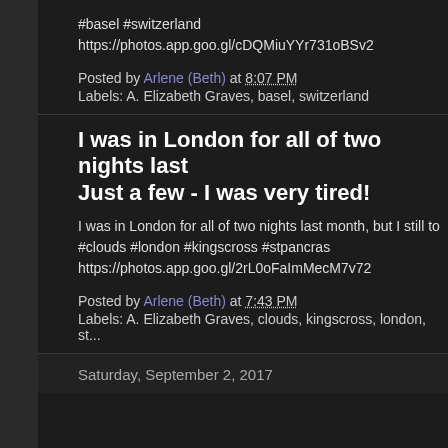#basel #switzerland
https://photos.app.goo.gl/cDQMiuYYr731oBSv2
Posted by Arlene (Beth) at 8:07 PM
Labels: A. Elizabeth Graves, basel, switzerland
I was in London for all of two nights last... Just a few - I was very tired!
I was in London for all of two nights last month, but I still to... #clouds #london #kingscross #stpancras
https://photos.app.goo.gl/2rL0oFaImMecM7v72
Posted by Arlene (Beth) at 7:43 PM
Labels: A. Elizabeth Graves, clouds, kingscross, london, st...
Saturday, September 2, 2017